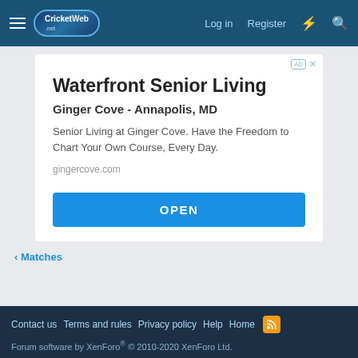CricketWeb.net — Log in   Register
[Figure (screenshot): Advertisement card for Waterfront Senior Living / Ginger Cove - Annapolis, MD with an OPEN button]
Waterfront Senior Living
Ginger Cove - Annapolis, MD
Senior Living at Ginger Cove. Have the Freedom to Chart Your Own Course, Every Day.
gingercove.com
< Matches
Contact us   Terms and rules   Privacy policy   Help   Home
Forum software by XenForo® © 2010-2020 XenForo Ltd.